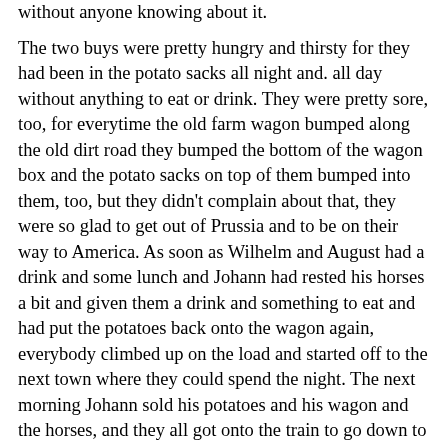without anyone knowing about it.
The two buys were pretty hungry and thirsty for they had been in the potato sacks all night and. all day without anything to eat or drink. They were pretty sore, too, for everytime the old farm wagon bumped along the old dirt road they bumped the bottom of the wagon box and the potato sacks on top of them bumped into them, too, but they didn't complain about that, they were so glad to get out of Prussia and to be on their way to America. As soon as Wilhelm and August had a drink and some lunch and Johann had rested his horses a bit and given them a drink and something to eat and had put the potatoes back onto the wagon again, everybody climbed up on the load and started off to the next town where they could spend the night. The next morning Johann sold his potatoes and his wagon and the horses, and they all got onto the train to go down to the ocean to where the ship was waiting to take them to America.
Scroggins | Kirchner
Home | Contents | Text Copy | Commented Copy | Map | Genealogical Chart
Images: 1 2 3 4 5 6 7 8 9 10
http://sites.netscape.net/scrogginsdata/maryjo/text.html
Hit Counter 09/24/01